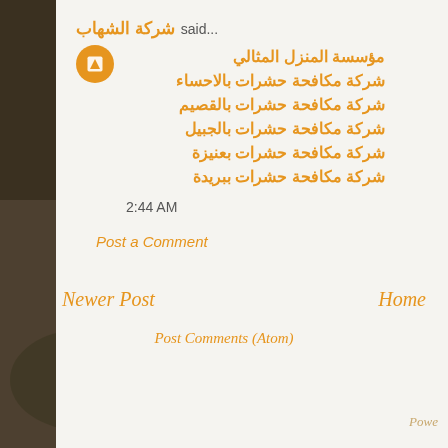[Figure (photo): Dark outdoor background photo showing muddy water or terrain with vegetation, in muted brown and olive tones]
شركة الشهاب said...
مؤسسة المنزل المثالي
شركة مكافحة حشرات بالاحساء
شركة مكافحة حشرات بالقصيم
شركة مكافحة حشرات بالجبيل
شركة مكافحة حشرات بعنيزة
شركة مكافحة حشرات ببريدة
2:44 AM
Post a Comment
Newer Post
Home
Post Comments (Atom)
Powe